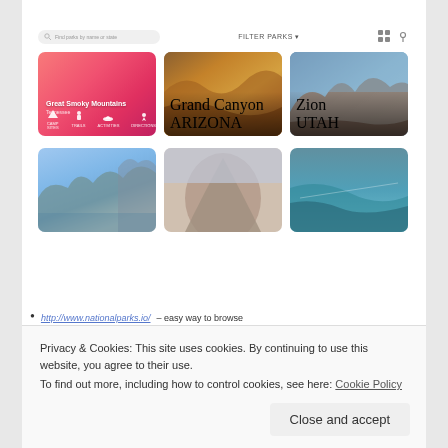[Figure (screenshot): Screenshot of a national parks website showing a search bar, filter label 'FILTER PARKS', grid/map icons, and a 3×2 grid of park cards: Great Smoky Mountains (pink/red gradient with icons), Grand Canyon (photo), Zion (photo), plus three more photo cards of mountain/landscape parks below.]
http://www.nationalparks.io/ – easy way to browse
Privacy & Cookies: This site uses cookies. By continuing to use this website, you agree to their use.
To find out more, including how to control cookies, see here: Cookie Policy
Close and accept